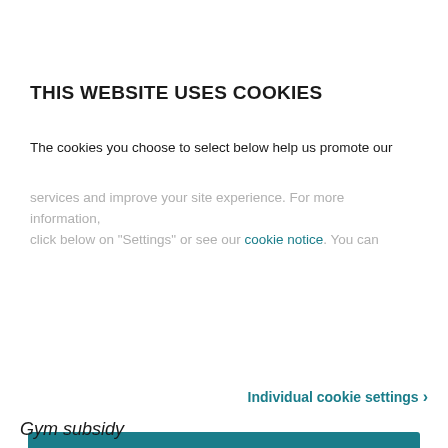THIS WEBSITE USES COOKIES
The cookies you choose to select below help us promote our services and improve your site experience. For more information, click below on "Settings" or see our cookie notice. You can
Individual cookie settings ›
Accept all
Individual cookie settings ›
Powered by Cookiebot by Usercentrics
Gym subsidy